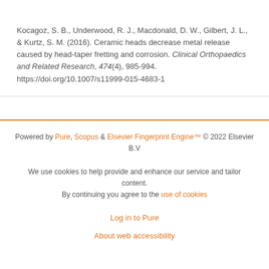Kocagoz, S. B., Underwood, R. J., Macdonald, D. W., Gilbert, J. L., & Kurtz, S. M. (2016). Ceramic heads decrease metal release caused by head-taper fretting and corrosion. Clinical Orthopaedics and Related Research, 474(4), 985-994. https://doi.org/10.1007/s11999-015-4683-1
Powered by Pure, Scopus & Elsevier Fingerprint Engine™ © 2022 Elsevier B.V
We use cookies to help provide and enhance our service and tailor content. By continuing you agree to the use of cookies
Log in to Pure
About web accessibility